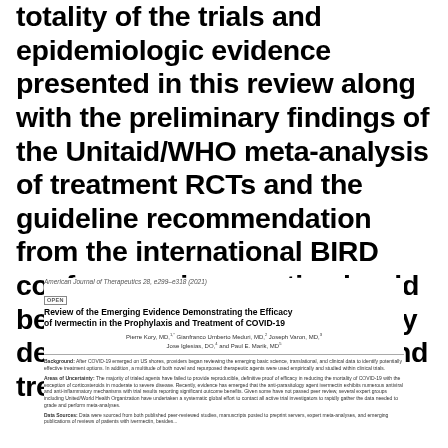totality of the trials and epidemiologic evidence presented in this review along with the preliminary findings of the Unitaid/WHO meta-analysis of treatment RCTs and the guideline recommendation from the international BIRD conference, ivermectin should be globally and systematically deployed in the prevention and treatment of COVID-19.
American Journal of Therapeutics 28, e299–e318 (2021)
OPEN
Review of the Emerging Evidence Demonstrating the Efficacy of Ivermectin in the Prophylaxis and Treatment of COVID-19
Pierre Kory, MD, Gianfranco Umberto Meduri, MD, Joseph Varon, MD, Jose Iglesias, DO, and Paul E. Marik, MD
Background: After COVID-19 emerged on US shores, providers began reviewing the emerging basic science, translational, and clinical data to identify potentially effective treatment options. In addition, a multitude of both novel and repurposed therapeutic agents were used empirically and studied within clinical trials.
Areas of Uncertainty: The majority of trialed agents have failed to provide reproducible, definitive proof of efficacy in reducing the mortality of COVID-19 with the exception of corticosteroids in moderate to severe disease. Recently, evidence has emerged that the anti-parasitology agent ivermectin exhibits numerous antiviral and anti-inflammatory mechanisms with trial results reporting significant outcome benefits. Given some have not passed peer review, several expert groups including United/World Health Organization have undertaken a systematic global effort to contact all active trial investigators to rapidly gather the data needed to grade and perform meta-analyses.
Data Sources: Data were sourced from both published peer-reviewed studies, manuscripts posted to preprint servers, expert meta-analyses, and emerging publications of reviews of patients with ivermectin, besides...